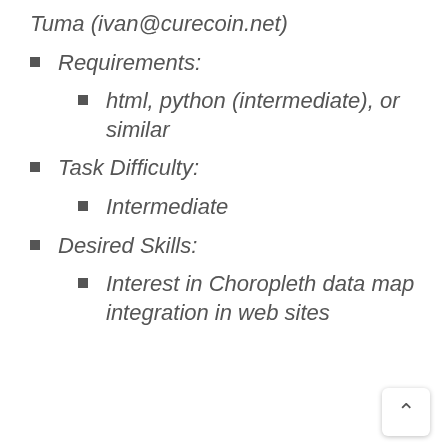Tuma (ivan@curecoin.net)
Requirements:
html, python (intermediate), or similar
Task Difficulty:
Intermediate
Desired Skills:
Interest in Choropleth data map integration in web sites